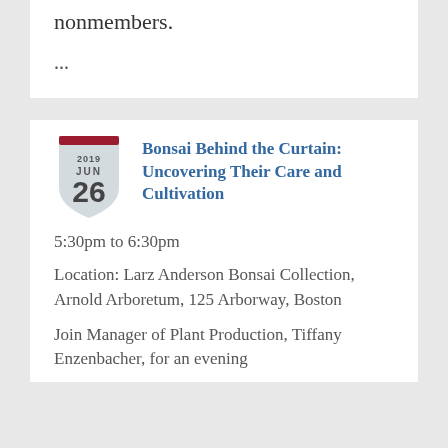nonmembers.
...
[Figure (illustration): Shield/badge calendar icon showing 2019 JUN 26 with a dark red top bar and light gray shield shape]
Bonsai Behind the Curtain: Uncovering Their Care and Cultivation
5:30pm to 6:30pm
Location: Larz Anderson Bonsai Collection, Arnold Arboretum, 125 Arborway, Boston
Join Manager of Plant Production, Tiffany Enzenbacher, for an evening